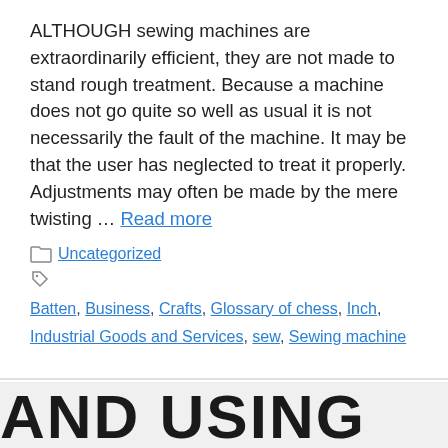ALTHOUGH sewing machines are extraordinarily efficient, they are not made to stand rough treatment. Because a machine does not go quite so well as usual it is not necessarily the fault of the machine. It may be that the user has neglected to treat it properly. Adjustments may often be made by the mere twisting … Read more
Uncategorized
Batten, Business, Crafts, Glossary of chess, Inch, Industrial Goods and Services, sew, Sewing machine
HOLDING AND USING